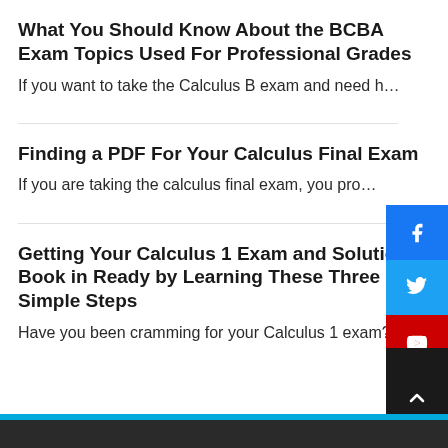What You Should Know About the BCBA Exam Topics Used For Professional Grades
If you want to take the Calculus B exam and need h…
Finding a PDF For Your Calculus Final Exam
If you are taking the calculus final exam, you pro…
Getting Your Calculus 1 Exam and Solutions Book in Ready by Learning These Three Simple Steps
Have you been cramming for your Calculus 1 exam? I…